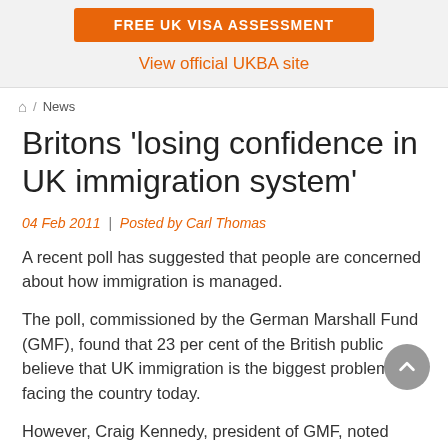FREE UK Visa Assessment
View official UKBA site
🏠 / News
Britons 'losing confidence in UK immigration system'
04 Feb 2011 | Posted by Carl Thomas
A recent poll has suggested that people are concerned about how immigration is managed.
The poll, commissioned by the German Marshall Fund (GMF), found that 23 per cent of the British public believe that UK immigration is the biggest problem facing the country today.
However, Craig Kennedy, president of GMF, noted